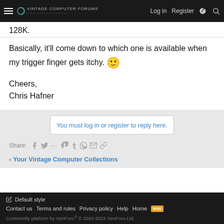Log in  Register
128K.
Basically, it'll come down to which one is available when my trigger finger gets itchy. 🙂
Cheers,
Chris Hafner
You must log in or register to reply here.
Share:
< Your Vintage Computer Collections
✏ Default style
Contact us  Terms and rules  Privacy policy  Help  Home  RSS
Community platform by XenForo® © 2010-2022 XenForo Ltd.